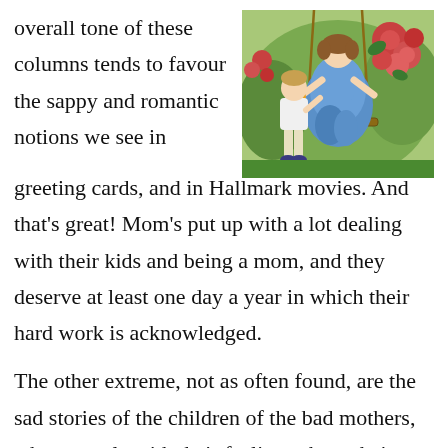overall tone of these columns tends to favour the sappy and romantic notions we see in greeting cards, and in Hallmark movies. And that's great! Mom's put up with a lot dealing with their kids and being a mom, and they deserve at least one day a year in which their hard work is acknowledged.
[Figure (illustration): A vintage illustration showing a child standing beside a woman seated on a swing, surrounded by roses and floral decoration.]
The other extreme, not as often found, are the sad stories of the children of the bad mothers, who struggle with their feelings about their feelings towards someone so integral to the formation of their lives. Motherhood has always been framed as essential to the very fabric of society. These children wonder what was wrong with them, and why they got the